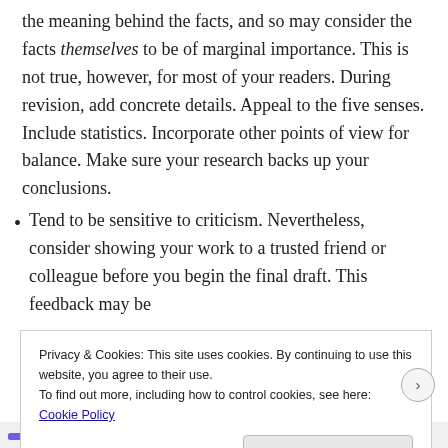the meaning behind the facts, and so may consider the facts themselves to be of marginal importance. This is not true, however, for most of your readers. During revision, add concrete details. Appeal to the five senses. Include statistics. Incorporate other points of view for balance. Make sure your research backs up your conclusions.
Tend to be sensitive to criticism. Nevertheless, consider showing your work to a trusted friend or colleague before you begin the final draft. This feedback may be
Privacy & Cookies: This site uses cookies. By continuing to use this website, you agree to their use.
To find out more, including how to control cookies, see here: Cookie Policy